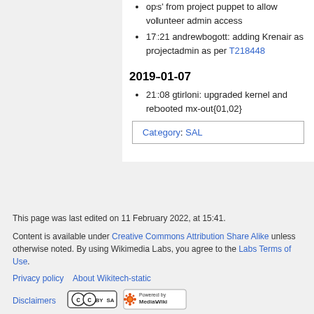ops' from project puppet to allow volunteer admin access
17:21 andrewbogott: adding Krenair as projectadmin as per T218448
2019-01-07
21:08 gtirloni: upgraded kernel and rebooted mx-out{01,02}
Category: SAL
This page was last edited on 11 February 2022, at 15:41.
Content is available under Creative Commons Attribution Share Alike unless otherwise noted. By using Wikimedia Labs, you agree to the Labs Terms of Use.
Privacy policy   About Wikitech-static
Disclaimers